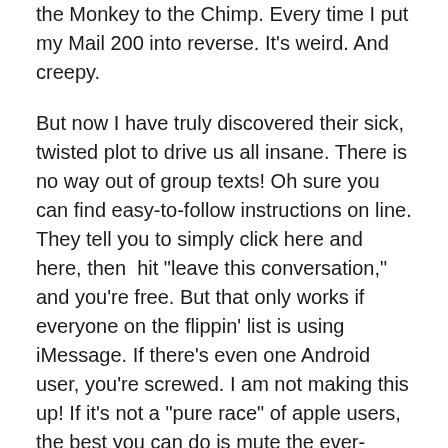the Monkey to the Chimp. Every time I put my Mail 200 into reverse. It's weird. And creepy.
But now I have truly discovered their sick, twisted plot to drive us all insane. There is no way out of group texts! Oh sure you can find easy-to-follow instructions on line. They tell you to simply click here and here, then hit “leave this conversation,” and you’re free. But that only works if everyone on the flippin’ list is using iMessage. If there’s even one Android user, you’re screwed. I am not making this up! If it’s not a “pure race” of apple users, the best you can do is mute the ever-constant notification bings. But you can NEVER fully escape!
I am not a big “regulate the internet” advocate. I actually dig the whole wild west spirit of bold risk leading to bold rewards. But somehow we need to protect those of us who made the mistake of gently joining a thread of well